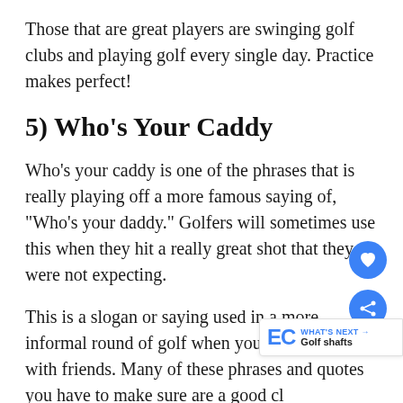Those that are great players are swinging golf clubs and playing golf every single day. Practice makes perfect!
5) Who’s Your Caddy
Who’s your caddy is one of the phrases that is really playing off a more famous saying of, “Who’s your daddy.” Golfers will sometimes use this when they hit a really great shot that they were not expecting.
This is a slogan or saying used in a more informal round of golf when you are playing with friends. Many of these phrases and quotes you have to make sure are a good ch… use when playing with people you don’t know.